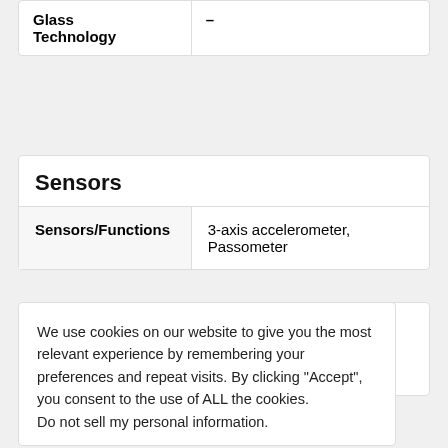| Glass Technology | – |
| --- | --- |
Sensors
| Sensors/Functions | 3-axis accelerometer, Passometer |
| --- | --- |
We use cookies on our website to give you the most relevant experience by remembering your preferences and repeat visits. By clicking "Accept", you consent to the use of ALL the cookies. Do not sell my personal information.
c Player